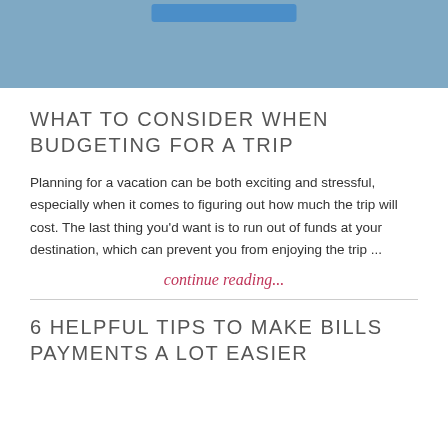[Figure (other): Blue banner background with a blue button element at the top]
WHAT TO CONSIDER WHEN BUDGETING FOR A TRIP
Planning for a vacation can be both exciting and stressful, especially when it comes to figuring out how much the trip will cost. The last thing you'd want is to run out of funds at your destination, which can prevent you from enjoying the trip ...
continue reading...
6 HELPFUL TIPS TO MAKE BILLS PAYMENTS A LOT EASIER